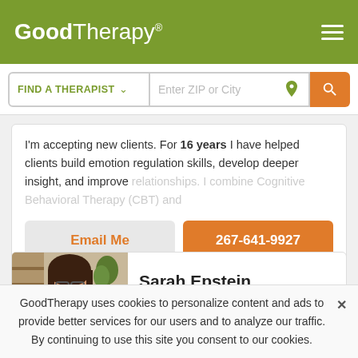GoodTherapy®
FIND A THERAPIST   Enter ZIP or City
I'm accepting new clients. For 16 years I have helped clients build emotion regulation skills, develop deeper insight, and improve relationships. I combine Cognitive Behavioral Therapy (CBT) and
Email Me   267-641-9927
Sarah Epstein
LMFT
Marriage & Family Therapist
GoodTherapy uses cookies to personalize content and ads to provide better services for our users and to analyze our traffic. By continuing to use this site you consent to our cookies.